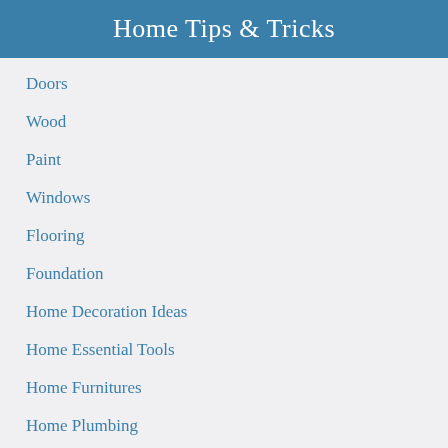Home Tips & Tricks
Doors
Wood
Paint
Windows
Flooring
Foundation
Home Decoration Ideas
Home Essential Tools
Home Furnitures
Home Plumbing
Home Repair Guide